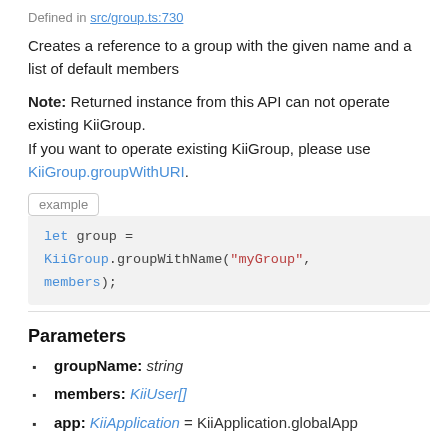Defined in src/group.ts:730
Creates a reference to a group with the given name and a list of default members
Note: Returned instance from this API can not operate existing KiiGroup.
If you want to operate existing KiiGroup, please use KiiGroup.groupWithURI.
example
let group =
KiiGroup.groupWithName("myGroup",
members);
Parameters
groupName: string
members: KiiUser[]
app: KiiApplication = KiiApplication.globalApp